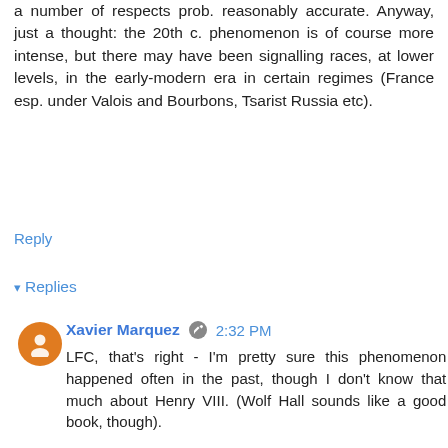a number of respects prob. reasonably accurate. Anyway, just a thought: the 20th c. phenomenon is of course more intense, but there may have been signalling races, at lower levels, in the early-modern era in certain regimes (France esp. under Valois and Bourbons, Tsarist Russia etc).
Reply
▾ Replies
Xavier Marquez  2:32 PM
LFC, that's right - I'm pretty sure this phenomenon happened often in the past, though I don't know that much about Henry VIII. (Wolf Hall sounds like a good book, though).

I tried to talk about the comparable cascades of flattery inflation in the early Roman empire here: http://abandonedfootnotes.blogspot.com/2011/12/flattery-inflation.html. It would be interesting to compare modern cults to the "cults" of early modern monarchies. Jan Plamper, in his book on the Stalin cult makes some of these